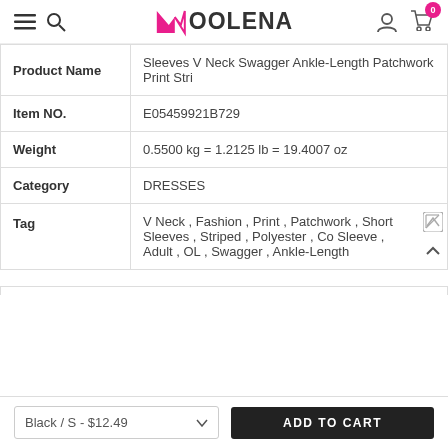Moolena
| Field | Value |
| --- | --- |
| Product Name | Sleeves V Neck Swagger Ankle-Length Patchwork Print Stri |
| Item NO. | E05459921B729 |
| Weight | 0.5500 kg = 1.2125 lb = 19.4007 oz |
| Category | DRESSES |
| Tag | V Neck , Fashion , Print , Patchwork , Short Sleeves , Striped , Polyester , Co Sleeve , Adult , OL , Swagger , Ankle-Length |
Black / S - $12.49
ADD TO CART